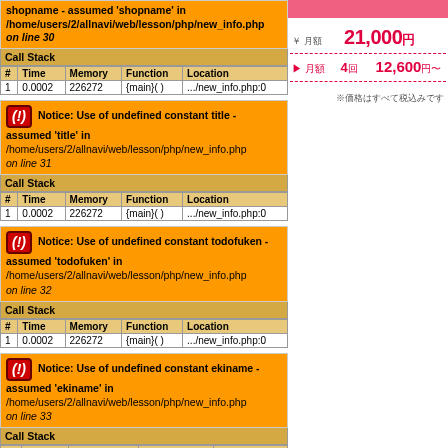shopname - assumed 'shopname' in /home/users/2/allnavi/web/lesson/php/new_info.php on line 30
| # | Time | Memory | Function | Location |
| --- | --- | --- | --- | --- |
| 1 | 0.0002 | 226272 | {main}( ) | .../new_info.php:0 |
Notice: Use of undefined constant title - assumed 'title' in /home/users/2/allnavi/web/lesson/php/new_info.php on line 31
| # | Time | Memory | Function | Location |
| --- | --- | --- | --- | --- |
| 1 | 0.0002 | 226272 | {main}( ) | .../new_info.php:0 |
Notice: Use of undefined constant todofuken - assumed 'todofuken' in /home/users/2/allnavi/web/lesson/php/new_info.php on line 32
| # | Time | Memory | Function | Location |
| --- | --- | --- | --- | --- |
| 1 | 0.0002 | 226272 | {main}( ) | .../new_info.php:0 |
Notice: Use of undefined constant ekiname - assumed 'ekiname' in /home/users/2/allnavi/web/lesson/php/new_info.php on line 33
| # | Time | Memory | Function | Location |
| --- | --- | --- | --- | --- |
21,000円
▶ 月額 4回 12,600円〜
※価格はすべて税込みです